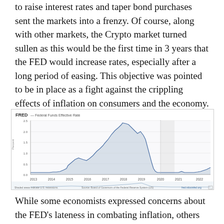to raise interest rates and taper bond purchases sent the markets into a frenzy. Of course, along with other markets, the Crypto market turned sullen as this would be the first time in 3 years that the FED would increase rates, especially after a long period of easing. This objective was pointed to be in place as a fight against the crippling effects of inflation on consumers and the economy.
[Figure (continuous-plot): FRED line chart showing the Federal Funds Effective Rate from approximately 2013 to 2022. The rate rises gradually from near 0% around 2015-2016, peaks near 2.5% in 2019, then drops sharply to near 0% in 2020 (COVID), with a shaded region indicating a recession. A small uptick appears at the far right around 2022.]
While some economists expressed concerns about the FED's lateness in combating inflation, others believed